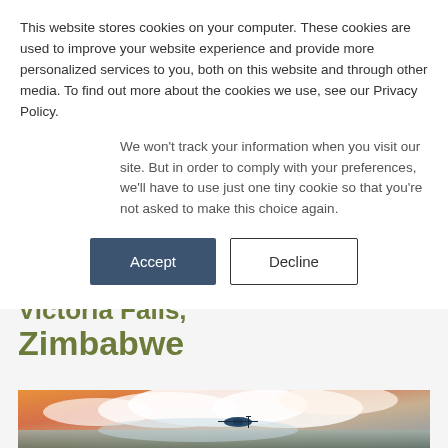This website stores cookies on your computer. These cookies are used to improve your website experience and provide more personalized services to you, both on this website and through other media. To find out more about the cookies we use, see our Privacy Policy.
We won't track your information when you visit our site. But in order to comply with your preferences, we'll have to use just one tiny cookie so that you're not asked to make this choice again.
Accept
Decline
Victoria Falls, Zimbabwe
[Figure (photo): Aerial photograph of Victoria Falls, Zimbabwe at sunset with a helicopter flying over the mist and falls, dramatic clouds and golden sky in background]